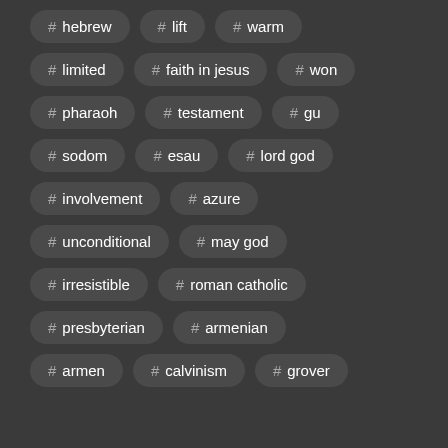# hebrew
# lift
# warm
# limited
# faith in jesus
# won
# pharaoh
# testament
# gu
# sodom
# esau
# lord god
# involvement
# azure
# unconditional
# may god
# irresistible
# roman catholic
# presbyterian
# armenian
# armen
# calvinism
# grover